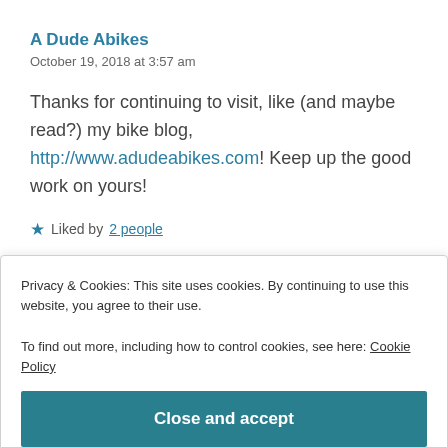A Dude Abikes
October 19, 2018 at 3:57 am
Thanks for continuing to visit, like (and maybe read?) my bike blog, http://www.adudeabikes.com! Keep up the good work on yours!
★ Liked by 2 people
Reply
Privacy & Cookies: This site uses cookies. By continuing to use this website, you agree to their use.
To find out more, including how to control cookies, see here: Cookie Policy
Close and accept